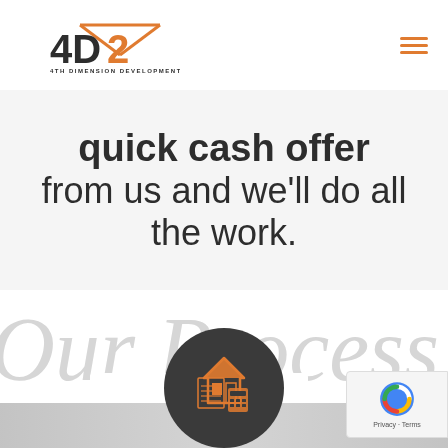[Figure (logo): 4D2 / 4th Dimension Development logo with orange triangle/roof graphic and dark text]
quick cash offer from us and we'll do all the work.
[Figure (illustration): Large script/cursive watermark text reading 'Our Process' in light gray]
[Figure (illustration): Dark circular icon with orange house and calculator graphic, representing property evaluation process]
[Figure (illustration): reCAPTCHA badge bottom right with Google logo and Privacy/Terms links]